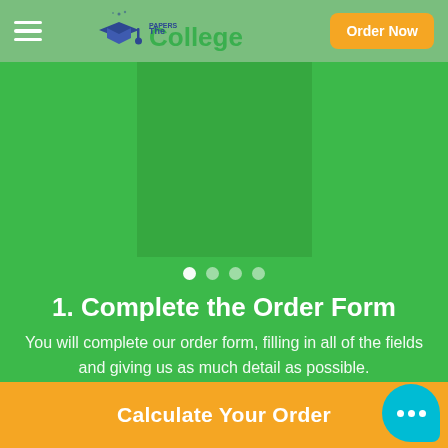The College Papers — Order Now
[Figure (screenshot): Green slide area with overlapping panels suggesting a carousel/slider]
• • • •
1. Complete the Order Form
You will complete our order form, filling in all of the fields and giving us as much detail as possible.
Calculate Your Order